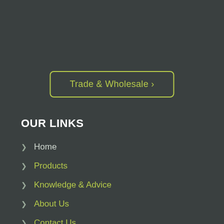Trade & Wholesale >
OUR LINKS
Home
Products
Knowledge & Advice
About Us
Contact Us